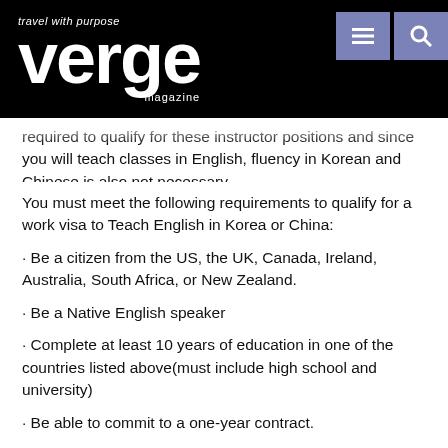travel with purpose verge magazine
required to qualify for these instructor positions and since you will teach classes in English, fluency in Korean and Chinese is also not necessary.
You must meet the following requirements to qualify for a work visa to Teach English in Korea or China:
· Be a citizen from the US, the UK, Canada, Ireland, Australia, South Africa, or New Zealand.
· Be a Native English speaker
· Complete at least 10 years of education in one of the countries listed above(must include high school and university)
· Be able to commit to a one-year contract.